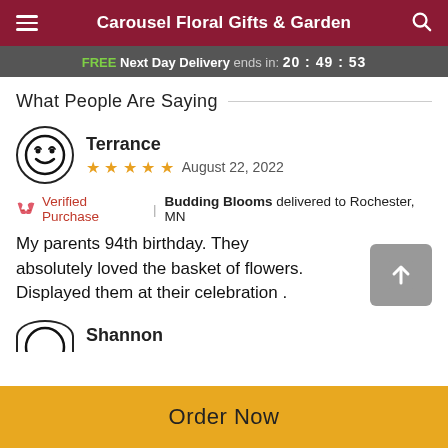Carousel Floral Gifts & Garden
FREE Next Day Delivery ends in: 20:49:53
What People Are Saying
Terrance
★★★★★ August 22, 2022
🌸 Verified Purchase | Budding Blooms delivered to Rochester, MN
My parents 94th birthday. They absolutely loved the basket of flowers. Displayed them at their celebration .
Shannon